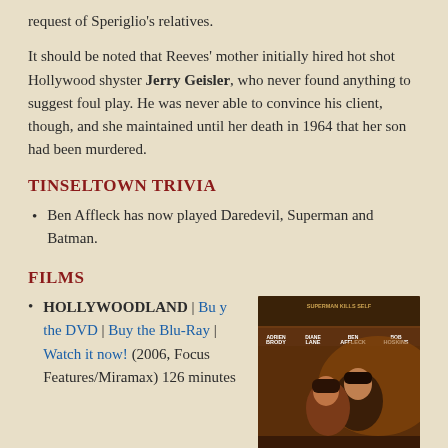request of Speriglio's relatives.
It should be noted that Reeves' mother initially hired hot shot Hollywood shyster Jerry Geisler, who never found anything to suggest foul play. He was never able to convince his client, though, and she maintained until her death in 1964 that her son had been murdered.
TINSELTOWN TRIVIA
Ben Affleck has now played Daredevil, Superman and Batman.
FILMS
HOLLYWOODLAND | Buy the DVD | Buy the Blu-Ray | Watch it now! (2006, Focus Features/Miramax) 126 minutes
[Figure (photo): Movie poster for Hollywoodland featuring actors Adrien Brody, Diane Lane, Ben Affleck, Bob Hoskins]